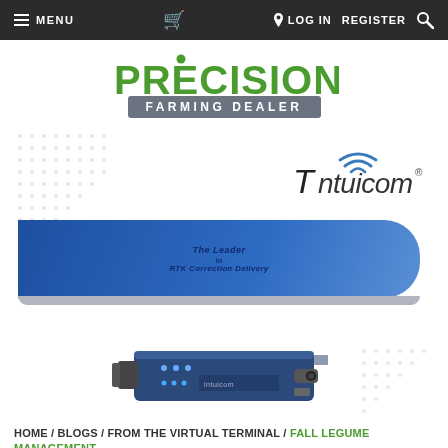MENU   [cart]   LOG IN   REGISTER   [search]
[Figure (logo): Precision Farming Dealer logo — green bold PRECISION text with circle above I, gray rectangle with white FARMING DEALER text]
[Figure (logo): Intuicom logo — stylized wifi icon above letter T, followed by 'ntuicom' in italic font with registered trademark symbol]
[Figure (illustration): Blue rounded-right-corners banner with text 'The Leader in RTK Correction Delivery' on dark blue background, with gray bar beneath]
[Figure (photo): Electronic device — dark blue/gray rectangular hardware unit with connectors and indicator lights, resembling an RTK correction radio modem]
HOME / BLOGS / FROM THE VIRTUAL TERMINAL / FALL LEGUME MANAGEMENT